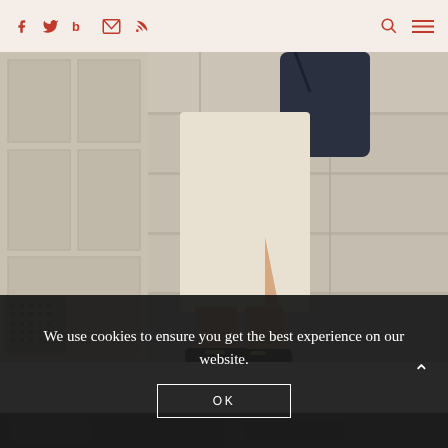Social icons: facebook, twitter, bloglovin, email, rss — search and menu icons on right
[Figure (photo): Street fashion photo showing lower body of a person wearing a beige/cream pencil skirt with a slit, dark loafer shoes with gold detail, and carrying a dark navy bag, standing in front of a stone architectural facade]
We use cookies to ensure you get the best experience on our website.
OK